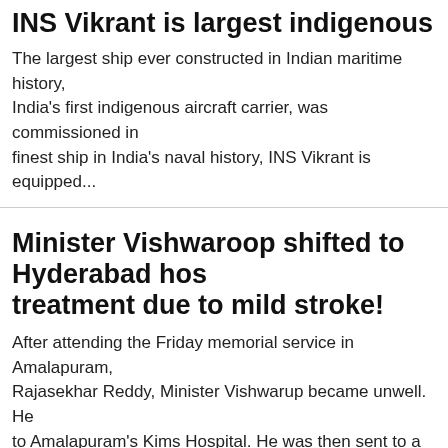INS Vikrant is largest indigenous warship- Spe...
The largest ship ever constructed in Indian maritime history... India's first indigenous aircraft carrier, was commissioned in... finest ship in India's naval history, INS Vikrant is equipped...
Minister Vishwaroop shifted to Hyderabad hos... treatment due to mild stroke!
After attending the Friday memorial service in Amalapuram... Rajasekhar Reddy, Minister Vishwarup became unwell. He... to Amalapuram's Kims Hospital. He was then sent to a Raja...
Union Minister Nirmala Sitharaman comments... allegations on MLC Kavitha
On the second day of her tour in Telangana on Friday as m...